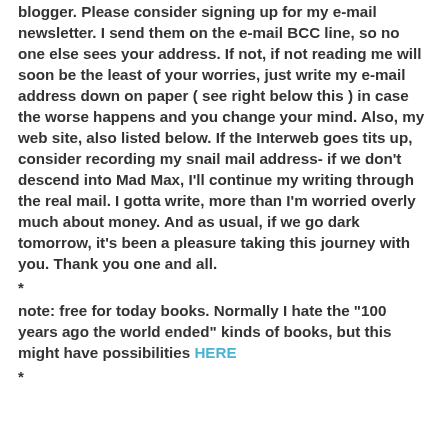blogger.  Please consider signing up for my e-mail newsletter.  I send them on the e-mail BCC line, so no one else sees your address.  If not, if not reading me will soon be the least of your worries, just write my e-mail address down on paper ( see right below this ) in case the worse happens and you change your mind.  Also, my web site, also listed below.  If the Interweb goes tits up, consider recording my snail mail address- if we don't descend into Mad Max, I'll continue my writing through the real mail.  I gotta write, more than I'm worried overly much about money.  And as usual, if we go dark tomorrow, it's been a pleasure taking this journey with you.  Thank you one and all.
*
note: free for today books.  Normally I hate the "100 years ago the world ended" kinds of books, but this might have possibilities HERE
*